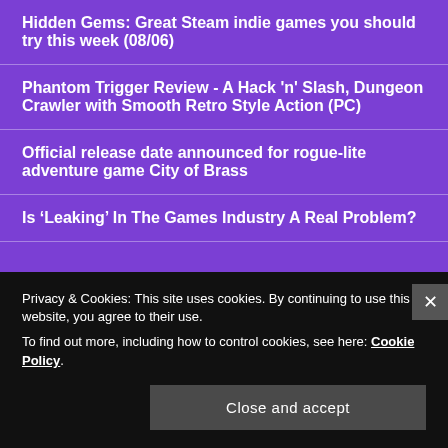Hidden Gems: Great Steam indie games you should try this week (08/06)
Phantom Trigger Review - A Hack 'n' Slash, Dungeon Crawler with Smooth Retro Style Action (PC)
Official release date announced for rogue-lite adventure game City of Brass
Is ‘Leaking’ In The Games Industry A Real Problem?
Privacy & Cookies: This site uses cookies. By continuing to use this website, you agree to their use.
To find out more, including how to control cookies, see here: Cookie Policy
Close and accept